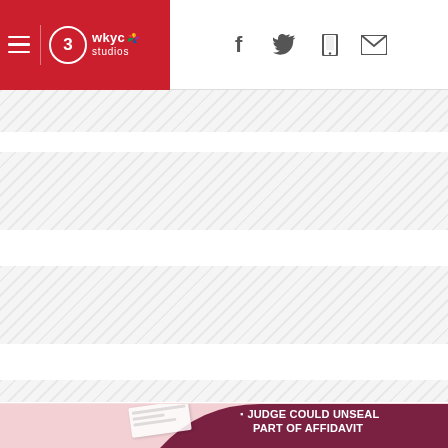WKYC Studios — Navigation header with logo, hamburger menu, and social icons (Facebook, Twitter, Mobile, Email)
[Figure (other): Three horizontal ad banner placeholder stripes with diagonal hatching pattern, alternating with white space]
[Figure (photo): Partial news article thumbnail at bottom: person visible on left side against pink background, overlapping maroon curved graphic element, with white headline text reading 'JUDGE COULD UNSEAL [PART OF AFFIDAVIT]']
JUDGE COULD UNSEAL PART OF AFFIDAVIT